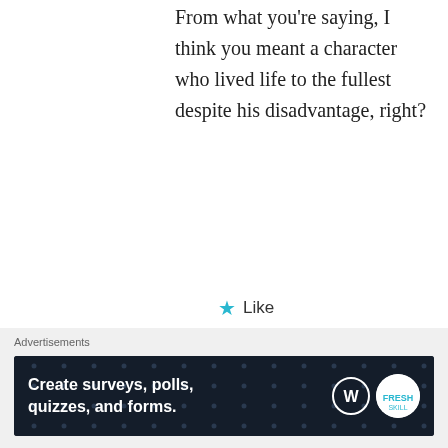From what you're saying, I think you meant a character who lived life to the fullest despite his disadvantage, right?
★ Like
REPLY
Akela
OCTOBER 1, 2017 AT 9:13 PM
Advertisements
Create surveys, polls, quizzes, and forms.